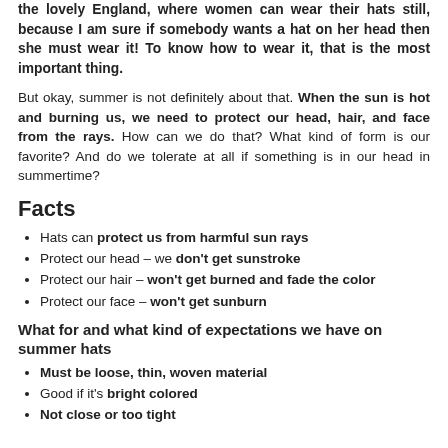the lovely England, where women can wear their hats still, because I am sure if somebody wants a hat on her head then she must wear it! To know how to wear it, that is the most important thing.
But okay, summer is not definitely about that. When the sun is hot and burning us, we need to protect our head, hair, and face from the rays. How can we do that? What kind of form is our favorite? And do we tolerate at all if something is in our head in summertime?
Facts
Hats can protect us from harmful sun rays
Protect our head – we don't get sunstroke
Protect our hair – won't get burned and fade the color
Protect our face – won't get sunburn
What for and what kind of expectations we have on summer hats
Must be loose, thin, woven material
Good if it's bright colored
Not close or too tight